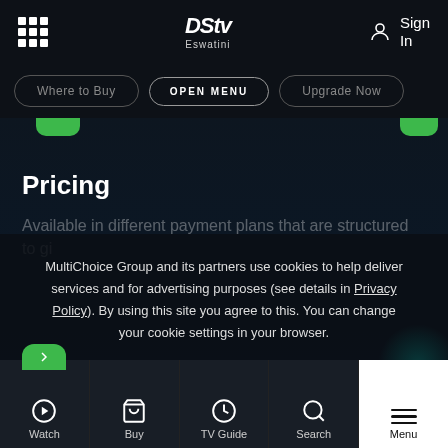DStv Eswatini — Sign In
Where to Buy | OPEN MENU | Upgrade Now
Pricing
Available in different payment plans that are structured to give…
MultiChoice Group and its partners use cookies to help deliver services and for advertising purposes (see details in Privacy Policy). By using this site you agree to this. You can change your cookie settings in your browser.
Accept Cookies
Watch | Buy | TV Guide | Search | Menu